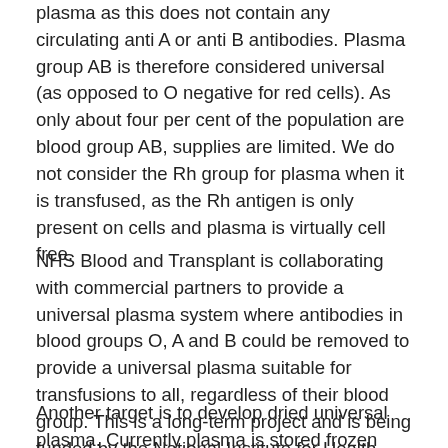plasma as this does not contain any circulating anti A or anti B antibodies. Plasma group AB is therefore considered universal (as opposed to O negative for red cells). As only about four per cent of the population are blood group AB, supplies are limited. We do not consider the Rh group for plasma when it is transfused, as the Rh antigen is only present on cells and plasma is virtually cell free.
NHS Blood and Transplant is collaborating with commercial partners to provide a universal plasma system where antibodies in blood groups O, A and B could be removed to provide a universal plasma suitable for transfusions to all, regardless of their blood group. This is a long-term project and is being funded by the National Institute for Health Research.
Another target is to develop dried universal plasma. Currently plasma is stored frozen and then thawed when it is needed. A dried plasma product could be reconstituted